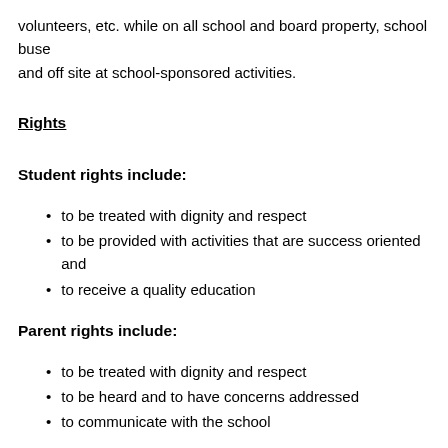volunteers, etc. while on all school and board property, school buses and off site at school-sponsored activities.
Rights
Student rights include:
to be treated with dignity and respect
to be provided with activities that are success oriented and
to receive a quality education
Parent rights include:
to be treated with dignity and respect
to be heard and to have concerns addressed
to communicate with the school
Staff rights include: